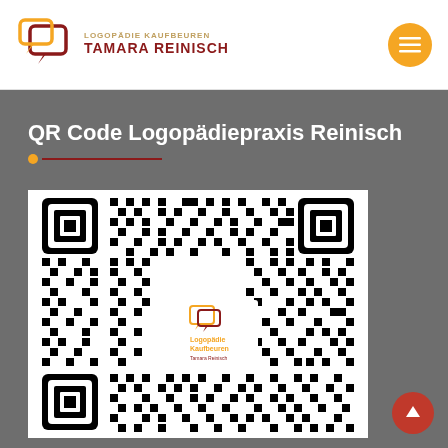Logopädie Kaufbeuren Tamara Reinisch
QR Code Logopädiepraxis Reinisch
[Figure (other): QR code for Logopädiepraxis Reinisch with the practice logo (speech bubble icon, Logopädie Kaufbeuren, Tamara Reinisch) embedded in the center.]